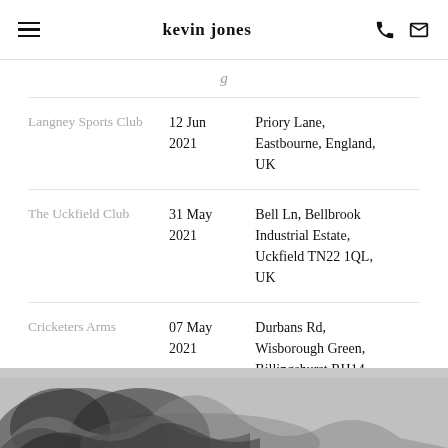kevin jones
| Venue | Date | Address |
| --- | --- | --- |
| Langney Sports Club | 12 Jun 2021 | Priory Lane, Eastbourne, England, UK |
| The Uckfield Club | 31 May 2021 | Bell Ln, Bellbrook Industrial Estate, Uckfield TN22 1QL, UK |
| Cricketers Arms | 07 May 2021 | Durbans Rd, Wisborough Green, Billingshurst RH14 0DG, UK |
[Figure (photo): Black and white smoke or wispy dark swirls against a grey background, partial image at the bottom of the page]